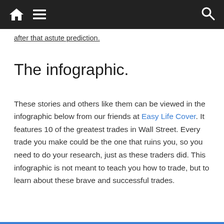Navigation bar with home icon, menu icon, and search icon
after that astute prediction.
The infographic.
These stories and others like them can be viewed in the infographic below from our friends at Easy Life Cover. It features 10 of the greatest trades in Wall Street. Every trade you make could be the one that ruins you, so you need to do your research, just as these traders did. This infographic is not meant to teach you how to trade, but to learn about these brave and successful trades.